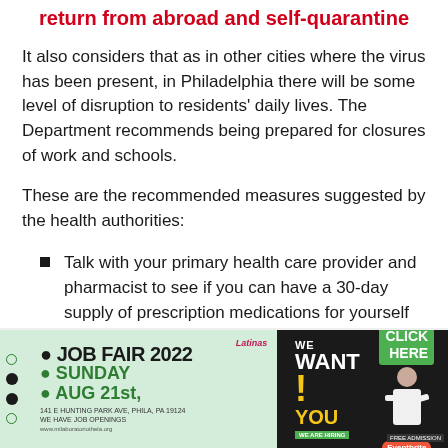return from abroad and self-quarantine
It also considers that as in other cities where the virus has been present, in Philadelphia there will be some level of disruption to residents' daily lives. The Department recommends being prepared for closures of work and schools.
These are the recommended measures suggested by the health authorities:
Talk with your primary health care provider and pharmacist to see if you can have a 30-day supply of prescription medications for yourself and other
[Figure (infographic): Job Fair 2022 advertisement banner. Text reads: JOB FAIR 2022, SUNDAY, AUG 21st, 141 E HUNTING PARK AVE, PHILA, PA 19124, WE HAVE JOB OPENINGS. Right side shows WE WANT YOU with exclamation mark, CLICK HERE button, WE ARE HIRING, FREE ADMISSION, Eventbrite logo, and a woman pointing.]